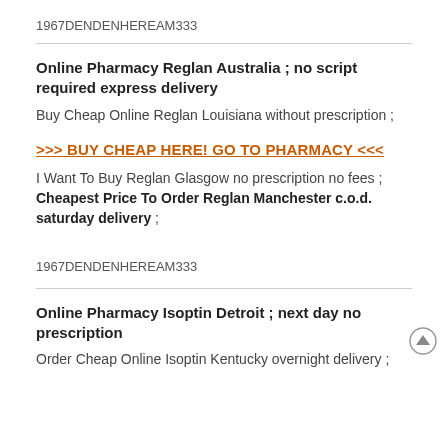1967DENDENHEREAM333
Online Pharmacy Reglan Australia ; no script required express delivery
Buy Cheap Online Reglan Louisiana without prescription ;
>>> BUY CHEAP HERE! GO TO PHARMACY <<<
I Want To Buy Reglan Glasgow no prescription no fees ; Cheapest Price To Order Reglan Manchester c.o.d. saturday delivery ;
1967DENDENHEREAM333
Online Pharmacy Isoptin Detroit ; next day no prescription
Order Cheap Online Isoptin Kentucky overnight delivery ;